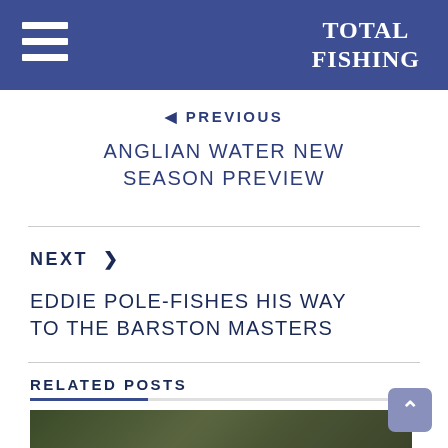TOTAL FISHING
◄ PREVIOUS
ANGLIAN WATER NEW SEASON PREVIEW
NEXT ›
EDDIE POLE-FISHES HIS WAY TO THE BARSTON MASTERS
RELATED POSTS
[Figure (photo): Outdoor fishing related image with dark foliage/water background, date overlay 12/05/2022]